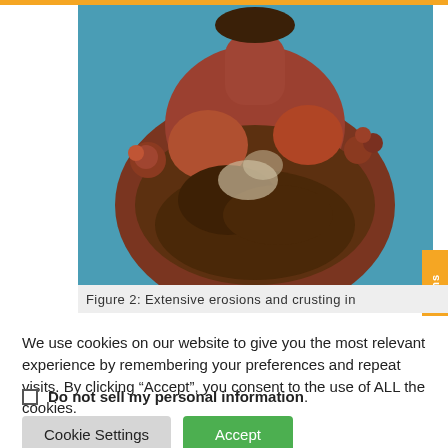[Figure (photo): Clinical photograph showing extensive erosions and crusting on the torso and upper body of a patient, with red inflamed skin, crusted lesions, and nodular formations on the shoulders]
Figure 2: Extensive erosions and crusting in
We use cookies on our website to give you the most relevant experience by remembering your preferences and repeat visits. By clicking “Accept”, you consent to the use of ALL the cookies.
Do not sell my personal information
Cookie Settings   Accept